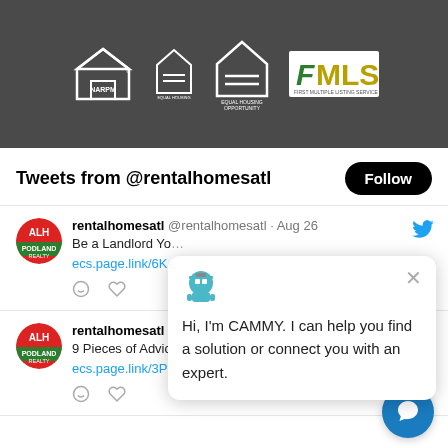[Figure (logo): Top dark bar with NARPM, Equal Housing Opportunity (small), Equal Housing Opportunity (large), and FMLS logos on dark gray background]
Tweets from @rentalhomesatl
rentalhomesatl @rentalhomesatl · Aug 26
Be a Landlord Yo...
ecs.page.link/6K...
rentalhomesatl @rentalhomesatl · Aug 26
9 Pieces of Advice to New Landlords
ecs.page.link/3PKn
[Figure (screenshot): Chatbot popup from CAMMY saying: Hi, I'm CAMMY. I can help you find a solution or connect you with an expert.]